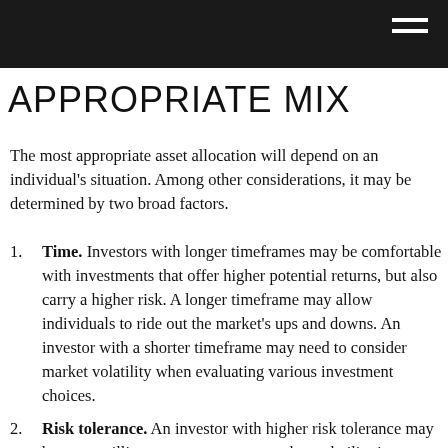APPROPRIATE MIX
The most appropriate asset allocation will depend on an individual’s situation. Among other considerations, it may be determined by two broad factors.
Time. Investors with longer timeframes may be comfortable with investments that offer higher potential returns, but also carry a higher risk. A longer timeframe may allow individuals to ride out the market’s ups and downs. An investor with a shorter timeframe may need to consider market volatility when evaluating various investment choices.
Risk tolerance. An investor with higher risk tolerance may be more willing to accept greater market volatility in